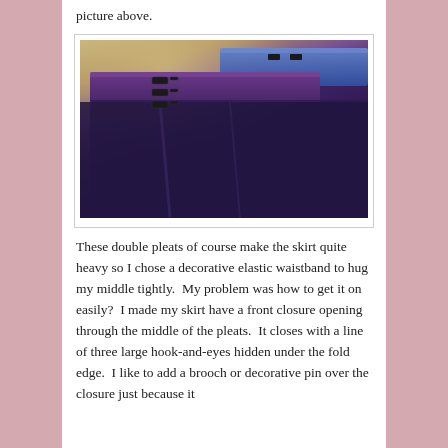picture above.
[Figure (photo): Close-up photo of a dark purple skirt waistband with hook-and-eye closures. A blue waistband is visible in the upper right. Three large hook-and-eye fasteners are visible along the fold of the purple fabric.]
These double pleats of course make the skirt quite heavy so I chose a decorative elastic waistband to hug my middle tightly.  My problem was how to get it on easily?  I made my skirt have a front closure opening through the middle of the pleats.  It closes with a line of three large hook-and-eyes hidden under the fold edge.  I like to add a brooch or decorative pin over the closure just because it